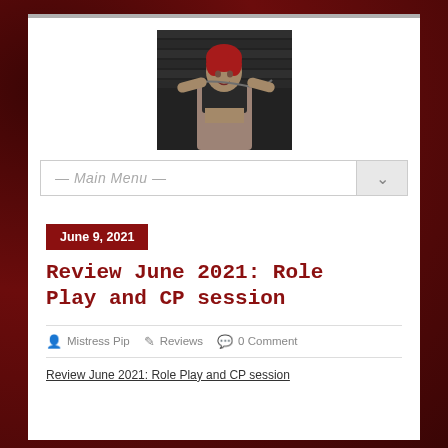[Figure (photo): Woman with red hair in dark indoor setting]
— Main Menu —
June 9, 2021
Review June 2021: Role Play and CP session
Mistress Pip   Reviews   0 Comment
Review June 2021: Role Play and CP session